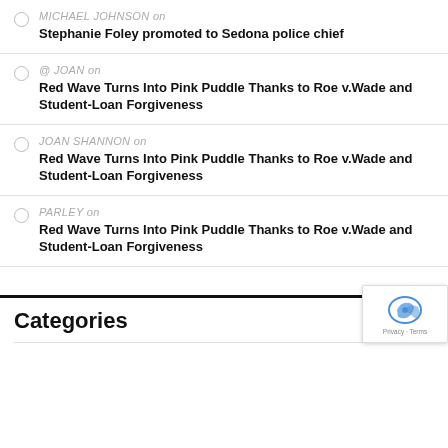MICHAEL JOHNSON on Stephanie Foley promoted to Sedona police chief
@ JOAN on Red Wave Turns Into Pink Puddle Thanks to Roe v.Wade and Student-Loan Forgiveness
JOAN SHANNON on Red Wave Turns Into Pink Puddle Thanks to Roe v.Wade and Student-Loan Forgiveness
PARLEY on Red Wave Turns Into Pink Puddle Thanks to Roe v.Wade and Student-Loan Forgiveness
Categories